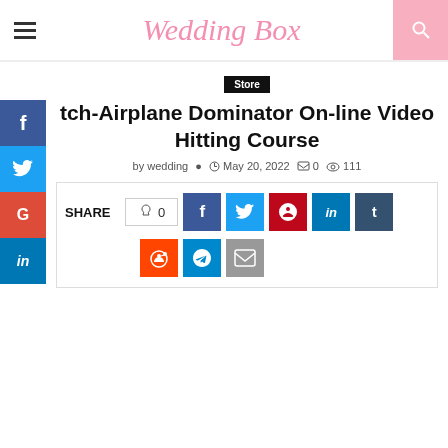Wedding Box
Store
tch-Airplane Dominator On-line Video Hitting Course
by wedding  May 20, 2022  0  111
SHARE  0  (social share buttons: facebook, twitter, pinterest, linkedin, tumblr, reddit, telegram, email)